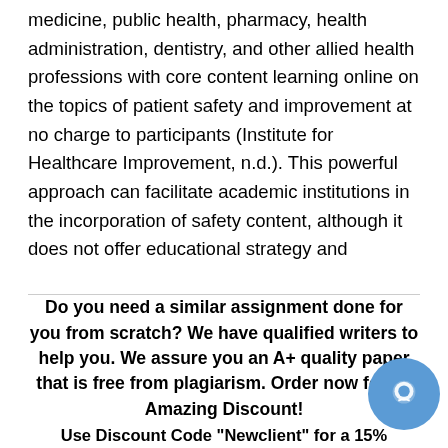medicine, public health, pharmacy, health administration, dentistry, and other allied health professions with core content learning online on the topics of patient safety and improvement at no charge to participants (Institute for Healthcare Improvement, n.d.). This powerful approach can facilitate academic institutions in the incorporation of safety content, although it does not offer educational strategy and techniques at the local level to enhance interprofessional learning. Local-level education still must be designed and facilitated through educators within the higher education professional programs.
Do you need a similar assignment done for you from scratch? We have qualified writers to help you. We assure you an A+ quality paper that is free from plagiarism. Order now for an Amazing Discount!
Use Discount Code "Newclient" for a 15%